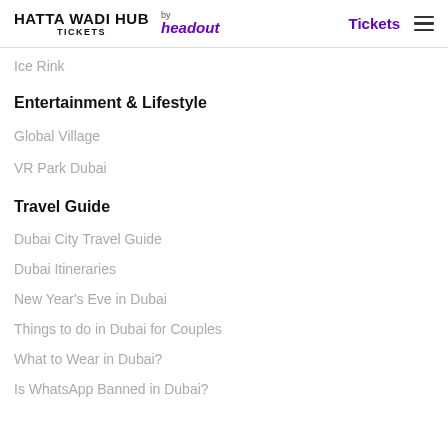HATTA WADI HUB TICKETS by headout — Tickets
Ice Rink
Entertainment & Lifestyle
Global Village
VR Park Dubai
Travel Guide
Dubai City Travel Guide
Dubai Itineraries
New Year's Eve in Dubai
Things to do in Dubai for Couples
What to Wear in Dubai?
Is WhatsApp Banned in Dubai?